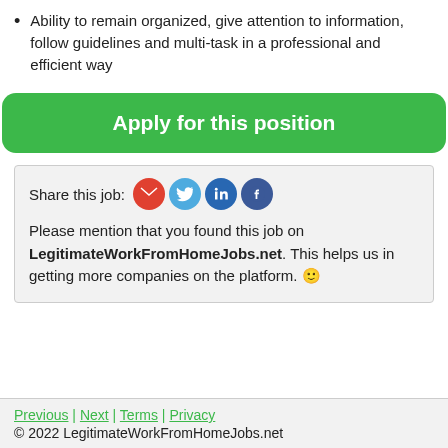Ability to remain organized, give attention to information, follow guidelines and multi-task in a professional and efficient way
[Figure (other): Green rounded button with white bold text reading 'Apply for this position']
Share this job: [email icon] [twitter icon] [linkedin icon] [facebook icon]
Please mention that you found this job on LegitimateWorkFromHomeJobs.net. This helps us in getting more companies on the platform. 🙂
Previous | Next | Terms | Privacy
© 2022 LegitimateWorkFromHomeJobs.net